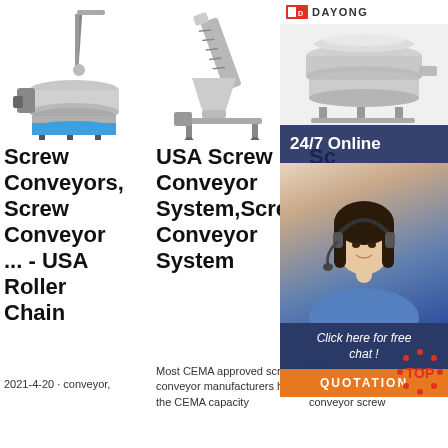[Figure (photo): Vibrating sieve/screener machine with blue base and stainless steel body with overhead arm]
[Figure (photo): Screw conveyor auger system with inclined tube and hopper base on frame]
[Figure (photo): DAYONG brand circular sieve machine, stainless steel, with 24/7 Online banner and customer service representative overlay]
Screw Conveyors, Screw Conveyor ... - USA Roller Chain
USA Screw Conveyor System,Screw Conveyor System
Sc... Co... Ew... G... Manufacture...
Most CEMA approved screw conveyor manufacturers have the CEMA capacity
Driven conveyor systems such as conveyor belts, conveyor screw
2021-4-20 · conveyor,
the CEMA capacity